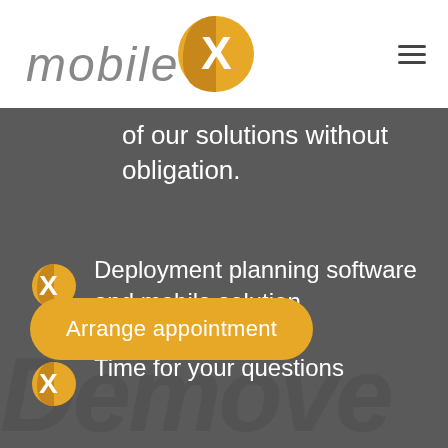[Figure (logo): mobileX logo with orange X icon and grey italic text]
of our solutions without obligation.
Deployment planning software and mobile solution
Time for your questions
Arrange appointment